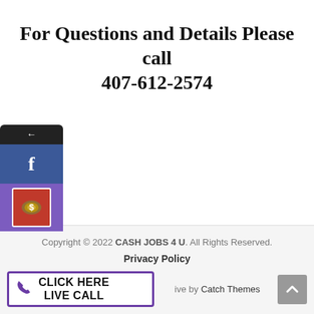For Questions and Details Please call 407-612-2574
[Figure (screenshot): Social media share sidebar widget with back arrow, Facebook button, and a money/cash image icon on purple background]
Copyright © 2022 CASH JOBS 4 U. All Rights Reserved.
Privacy Policy
CLICK HERE LIVE CALL
Powered by Catch Themes